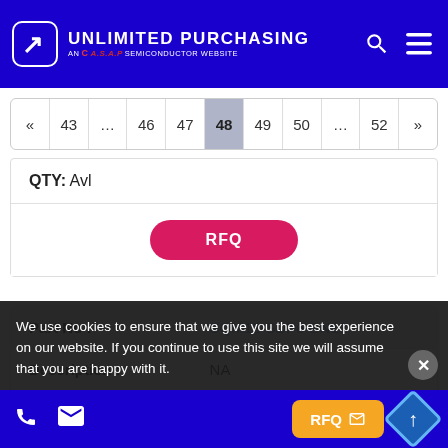UNLIMITED PURCHASING - AN A.S.A.P SEMICONDUCTOR WEBSITE
« 43 ... 46 47 48 49 50 ... 52 »
QTY: Avl
RFQ
| Field | Value |
| --- | --- |
| Part No: | SQM12-SDP6-BN12 |
| Description: | NA |
| Part Type: | NA |
| QTY: | Avl |
We use cookies to ensure that we give you the best experience on our website. If you continue to use this site we will assume that you are happy with it.
RFQ